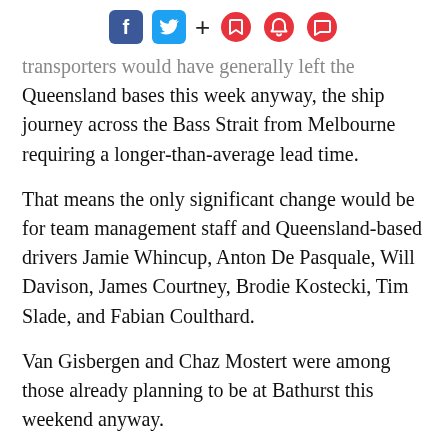Social sharing icons: Facebook, Twitter, +, bookmark, bell, comment
transporters would have generally left the Queensland bases this week anyway, the ship journey across the Bass Strait from Melbourne requiring a longer-than-average lead time.
That means the only significant change would be for team management staff and Queensland-based drivers Jamie Whincup, Anton De Pasquale, Will Davison, James Courtney, Brodie Kostecki, Tim Slade, and Fabian Coulthard.
Van Gisbergen and Chaz Mostert were among those already planning to be at Bathurst this weekend anyway.
The series is no stranger to navigating border closures, the Victorian-based teams having spent more than 100 days on the road last season as